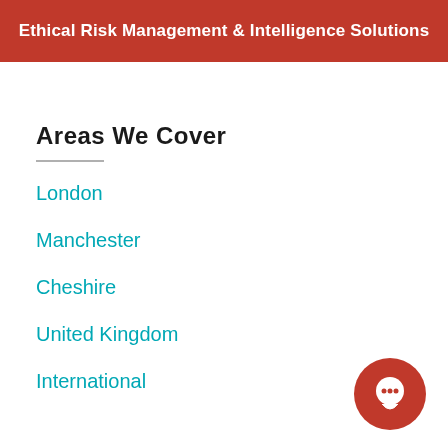Ethical Risk Management & Intelligence Solutions
Areas We Cover
London
Manchester
Cheshire
United Kingdom
International
[Figure (illustration): Red circular chat bubble icon in bottom-right corner]